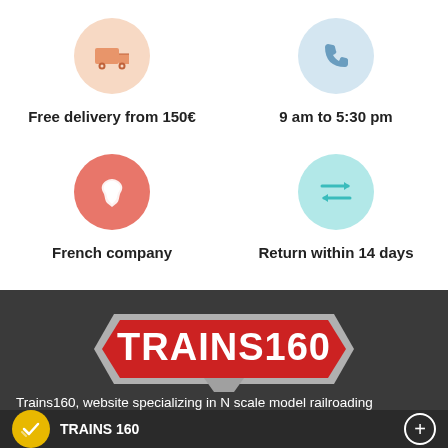[Figure (infographic): Four feature icons with labels: truck icon (orange circle) - Free delivery from 150€; phone icon (blue circle) - 9 am to 5:30 pm; France map icon (red circle) - French company; arrows icon (teal circle) - Return within 14 days]
Free delivery from 150€
9 am to 5:30 pm
French company
Return within 14 days
[Figure (logo): TRAINS160 logo — red hexagonal badge with silver trim and white bold text]
Trains160, website specializing in N scale model railroading
TRAINS 160